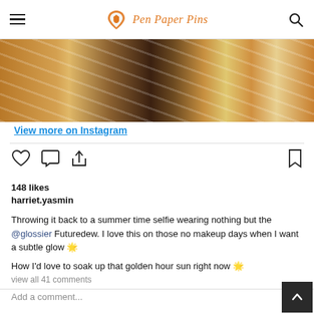Pen Paper Pins
[Figure (photo): Instagram image strip showing orange and white zebra-striped fabric patterns with a person with curly hair in the middle]
View more on Instagram
148 likes
harriet.yasmin
Throwing it back to a summer time selfie wearing nothing but the @glossier Futuredew. I love this on those no makeup days when I want a subtle glow 🌟
How I'd love to soak up that golden hour sun right now 🌟
view all 41 comments
Add a comment...